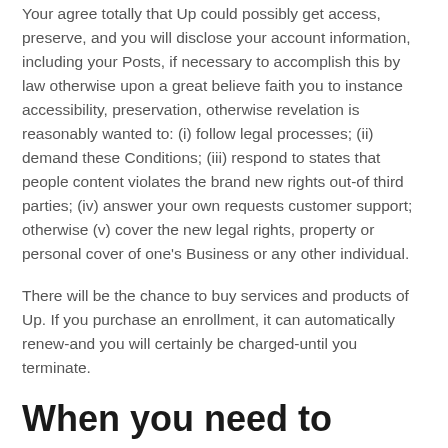Your agree totally that Up could possibly get access, preserve, and you will disclose your account information, including your Posts, if necessary to accomplish this by law otherwise upon a great believe faith you to instance accessibility, preservation, otherwise revelation is reasonably wanted to: (i) follow legal processes; (ii) demand these Conditions; (iii) respond to states that people content violates the brand new rights out-of third parties; (iv) answer your own requests customer support; otherwise (v) cover the new legal rights, property or personal cover of one's Business or any other individual.
There will be the chance to buy services and products of Up. If you purchase an enrollment, it can automatically renew-and you will certainly be charged-until you terminate.
When you need to